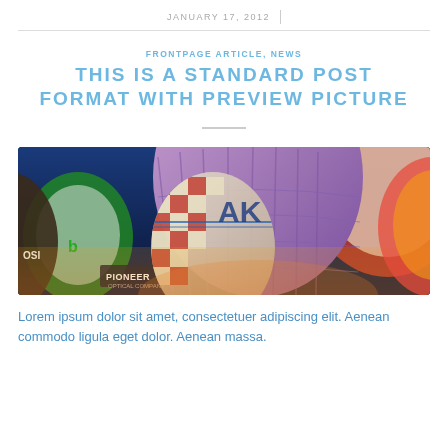JANUARY 17, 2012
FRONTPAGE ARTICLE, NEWS
THIS IS A STANDARD POST FORMAT WITH PREVIEW PICTURE
[Figure (photo): Hot air balloons photographed from below at night, showing colorful illuminated balloon envelopes against a dark blue sky. Balloons including red/cream, orange/white checkered, purple/white, and others visible.]
Lorem ipsum dolor sit amet, consectetuer adipiscing elit. Aenean commodo ligula eget dolor. Aenean massa.